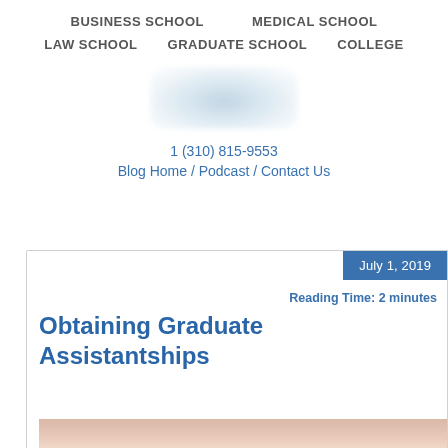BUSINESS SCHOOL   MEDICAL SCHOOL   LAW SCHOOL   GRADUATE SCHOOL   COLLEGE
[Figure (logo): Blurred company/site logo]
1 (310) 815-9553
Blog Home / Podcast / Contact Us
July 1, 2019
Reading Time: 2 minutes
Obtaining Graduate Assistantships
[Figure (photo): Photo of a person, partially visible at bottom of page]